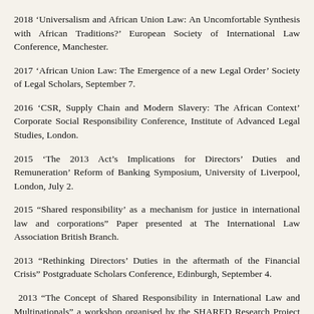2018 ‘Universalism and African Union Law: An Uncomfortable Synthesis with African Traditions?’ European Society of International Law Conference, Manchester.
2017 ‘African Union Law: The Emergence of a new Legal Order’ Society of Legal Scholars, September 7.
2016 ‘CSR, Supply Chain and Modern Slavery: The African Context’ Corporate Social Responsibility Conference, Institute of Advanced Legal Studies, London.
2015 ‘The 2013 Act’s Implications for Directors’ Duties and Remuneration’ Reform of Banking Symposium, University of Liverpool, London, July 2.
2015 “Shared responsibility’ as a mechanism for justice in international law and corporations” Paper presented at The International Law Association British Branch.
2013 “Rethinking Directors’ Duties in the aftermath of the Financial Crisis” Postgraduate Scholars Conference, Edinburgh, September 4.
2013 “The Concept of Shared Responsibility in International Law and Multinationals” a workshop organised by the SHARED Research Project on Shared Responsibility at the Amsterdam Centre for International Law, Netherlands on the 8th of April.
2011 ‘The Role of the African Union in the Libyan Crisis’, Inaugural CIPL Round-table on the Libyan Crisis, Brunel University, London, 15th November.
2011 ‘Islamic Banking in Nigeria: Prospects and Challenges’ Islamic Law and